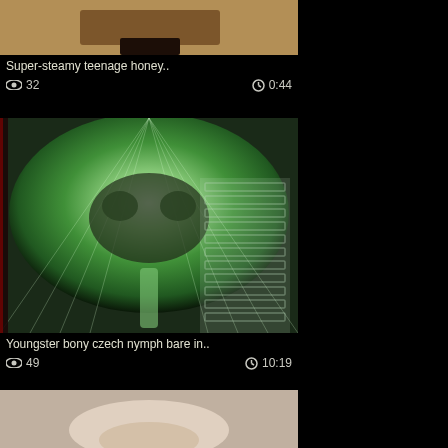[Figure (screenshot): Video thumbnail showing a room scene with warm tones]
Super-steamy teenage honey..
👁 32    🕐 0:44
[Figure (screenshot): Video thumbnail showing a tanning bed interior with green tones]
Youngster bony czech nymph bare in..
👁 49    🕐 10:19
[Figure (screenshot): Video thumbnail partial view at bottom]